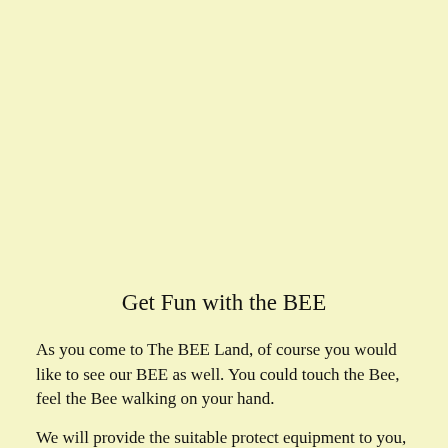Get Fun with the BEE
As you come to The BEE Land, of course you would like to see our BEE as well. You could touch the Bee, feel the Bee walking on your hand.
We will provide the suitable protect equipment to you, you can closely observe the bee hive to feel millions of